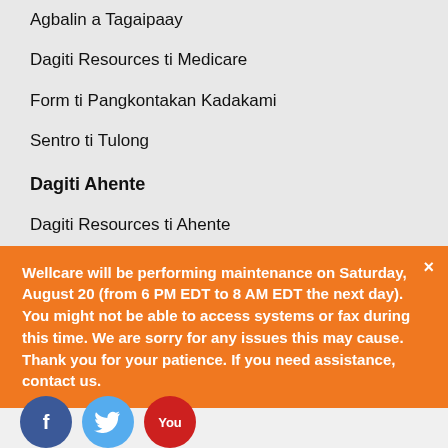Agbalin a Tagaipaay
Dagiti Resources ti Medicare
Form ti Pangkontakan Kadakami
Sentro ti Tulong
Dagiti Ahente
Dagiti Resources ti Ahente
Pannakikontrata ti Ahente
Impormasion ti Kompania
Maipapan Kadakami
Dagiti Relasion ti Mamuonan
Dagiti Propesyon
Wellcare will be performing maintenance on Saturday, August 20 (from 6 PM EDT to 8 AM EDT the next day). You might not be able to access systems or fax during this time. We are sorry for any issues this may cause. Thank you for your patience. If you need assistance, contact us.
[Figure (illustration): Social media icons: Facebook (blue circle), Twitter (light blue circle), YouTube (red circle with 'You' text)]